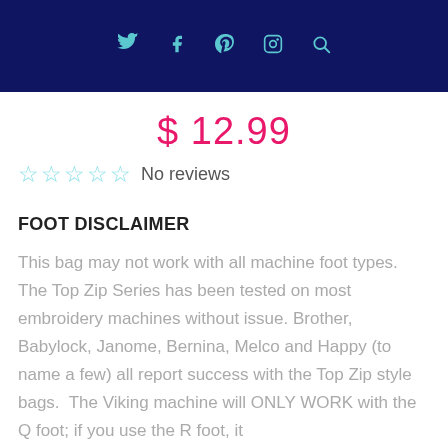Social media icons: Twitter, Facebook, Pinterest, Instagram, Search
$ 12.99
☆☆☆☆☆ No reviews
FOOT DISCLAIMER
This bag may not work with all machine foot types.  The Top Zip Series has been tested on most embroidery machines without issue. Brother, Babylock, Janome, Bernina, Melco and Happy (to name a few) all report success with the Top Zip style bags.  The Viking machine will ONLY WORK with the Q foot; if you use the R foot, it